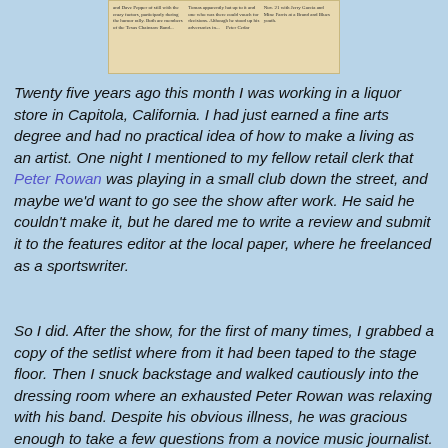[Figure (photo): A clipping from a newspaper article, showing small columns of printed text on aged/yellow newsprint paper.]
Twenty five years ago this month I was working in a liquor store in Capitola, California. I had just earned a fine arts degree and had no practical idea of how to make a living as an artist. One night I mentioned to my fellow retail clerk that Peter Rowan was playing in a small club down the street, and maybe we'd want to go see the show after work. He said he couldn't make it, but he dared me to write a review and submit it to the features editor at the local paper, where he freelanced as a sportswriter.
So I did. After the show, for the first of many times, I grabbed a copy of the setlist where from it had been taped to the stage floor. Then I snuck backstage and walked cautiously into the dressing room where an exhausted Peter Rowan was relaxing with his band. Despite his obvious illness, he was gracious enough to take a few questions from a novice music journalist. The next day I typed up my story and it was accepted by the Watsonville Register-Pajaronian, where it ran on 11/7/86. That was the first time I'd ever gotten paid for my writing.